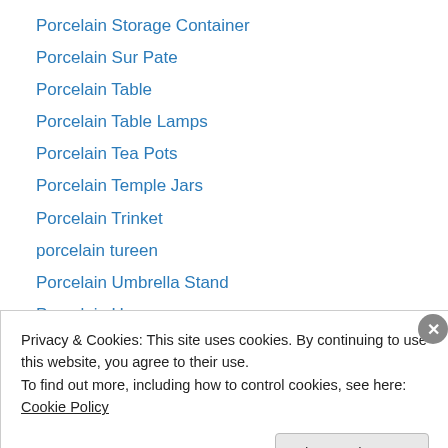Porcelain Storage Container
Porcelain Sur Pate
Porcelain Table
Porcelain Table Lamps
Porcelain Tea Pots
Porcelain Temple Jars
Porcelain Trinket
porcelain tureen
Porcelain Umbrella Stand
Porcelain Urns
Porcelain Vases
Porcleain Tea Cannisters
Portrait Gilt Frame
Privacy & Cookies: This site uses cookies. By continuing to use this website, you agree to their use.
To find out more, including how to control cookies, see here: Cookie Policy
Close and accept